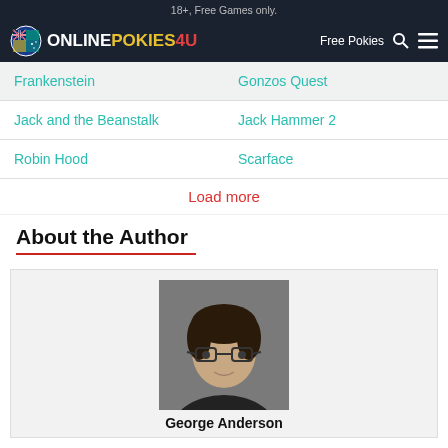18+, Free Games only.
[Figure (logo): OnlinePokies4U logo with circular Australian flag emblem and nav bar with Free Pokies text, search and menu icons]
Frankenstein
Gonzos Quest
Jack and the Beanstalk
Jack Hammer 2
Robin Hood
Scarface
Load more
About the Author
[Figure (photo): Headshot photo of George Anderson, a young man with dark hair, glasses, slight smile, wearing dark clothing, against grey background]
George Anderson